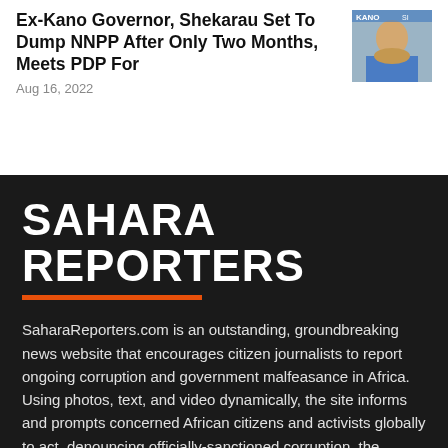Ex-Kano Governor, Shekarau Set To Dump NNPP After Only Two Months, Meets PDP For
Aug 16, 2022
[Figure (photo): Portrait photo of a man wearing a blue traditional outfit]
SAHARA REPORTERS
SaharaReporters.com is an outstanding, groundbreaking news website that encourages citizen journalists to report ongoing corruption and government malfeasance in Africa. Using photos, text, and video dynamically, the site informs and prompts concerned African citizens and activists globally to act, denouncing officially-sanctioned corruption, the material